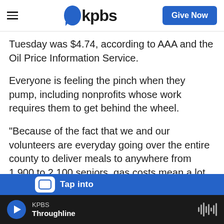kpbs | Give Now
Tuesday was $4.74, according to AAA and the Oil Price Information Service.
Everyone is feeling the pinch when they pump, including nonprofits whose work requires them to get behind the wheel.
“Because of the fact that we and our volunteers are everyday going over the entire county to deliver meals to anywhere from 1,900 to 2,100 seniors, gas costs mean a lot to our business,” said Brent Wakefield, CEO of Meals on Wheels San Diego.
KPBS Throughline